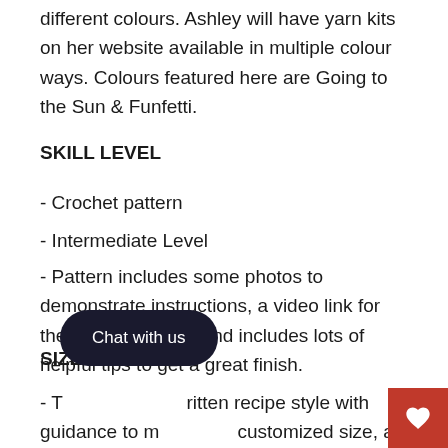different colours. Ashley will have yarn kits on her website available in multiple colour ways. Colours featured here are Going to the Sun & Funfetti.
SKILL LEVEL
- Crochet pattern
- Intermediate Level
- Pattern includes some photos to demonstrate instructions, a video link for the stitch required, and includes lots of helpful tips to get a great finish.
SIZE
- The pattern is written recipe style with guidance to make your customized size, as well as instructions to make the hat fitted or slouchy.